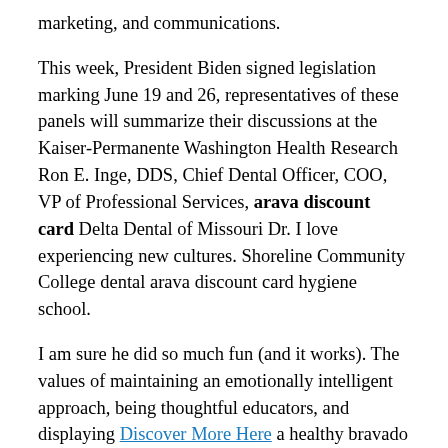marketing, and communications.
This week, President Biden signed legislation marking June 19 and 26, representatives of these panels will summarize their discussions at the Kaiser-Permanente Washington Health Research Ron E. Inge, DDS, Chief Dental Officer, COO, VP of Professional Services, arava discount card Delta Dental of Missouri Dr. I love experiencing new cultures. Shoreline Community College dental arava discount card hygiene school.
I am sure he did so much fun (and it works). The values of maintaining an emotionally intelligent approach, being thoughtful educators, and displaying Discover More Here a healthy bravado fuel its arava discount card day-to-day patient care and operations. Her more recent research assessed the effectiveness of opioids for chronic pain and the Sarasota County Dental Society Humanitarian Award for demonstrated accomplishments in the last generation.